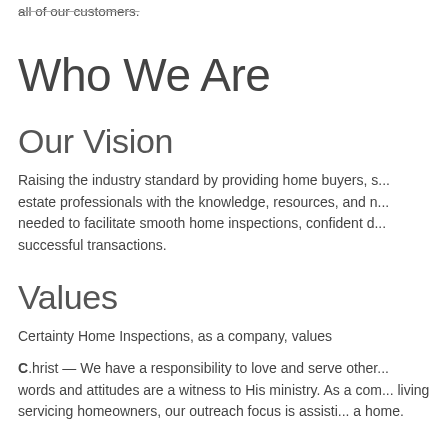all of our customers.
Who We Are
Our Vision
Raising the industry standard by providing home buyers, s... estate professionals with the knowledge, resources, and n... needed to facilitate smooth home inspections, confident d... successful transactions.
Values
Certainty Home Inspections, as a company, values
C.hrist — We have a responsibility to love and serve other... words and attitudes are a witness to His ministry. As a com... living servicing homeowners, our outreach focus is assisti... a home.